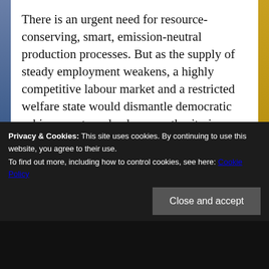There is an urgent need for resource-conserving, smart, emission-neutral production processes. But as the supply of steady employment weakens, a highly competitive labour market and a restricted welfare state would dismantle democratic achievements and enhance authoritarian trends.
Privacy & Cookies: This site uses cookies. By continuing to use this website, you agree to their use.
To find out more, including how to control cookies, see here: Cookie Policy
Close and accept